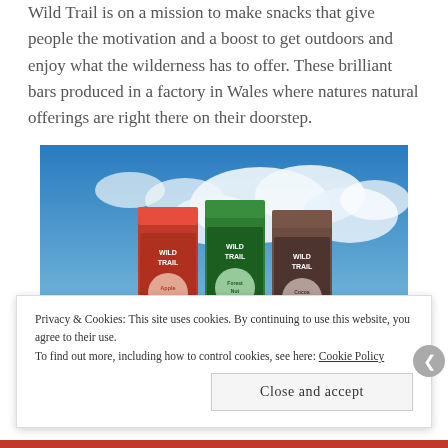Wild Trail is on a mission to make snacks that give people the motivation and a boost to get outdoors and enjoy what the wilderness has to offer. These brilliant bars produced in a factory in Wales where natures natural offerings are right there on their doorstep.
[Figure (photo): Three Wild Trail snack bar packages (red, green, brown) arranged in front of a dramatic blue sky with clouds and mountainous landscape in the background.]
Privacy & Cookies: This site uses cookies. By continuing to use this website, you agree to their use.
To find out more, including how to control cookies, see here: Cookie Policy
Close and accept